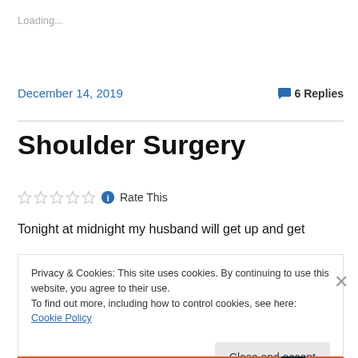Loading...
December 14, 2019
💬 6 Replies
Shoulder Surgery
☆☆☆☆☆ ℹ Rate This
Tonight at midnight my husband will get up and get
Privacy & Cookies: This site uses cookies. By continuing to use this website, you agree to their use.
To find out more, including how to control cookies, see here: Cookie Policy
Close and accept